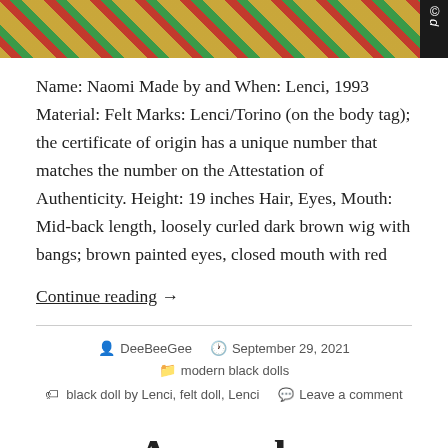[Figure (photo): Top portion of a photo showing colorful plaid/madras fabric clothing, dark background, copyright watermark on right side]
Name: Naomi Made by and When: Lenci, 1993 Material: Felt Marks: Lenci/Torino (on the body tag); the certificate of origin has a unique number that matches the number on the Attestation of Authenticity. Height: 19 inches Hair, Eyes, Mouth: Mid-back length, loosely curled dark brown wig with bangs; brown painted eyes, closed mouth with red
Continue reading  →
DeeBeeGee   September 29, 2021   modern black dolls   black doll by Lenci, felt doll, Lenci   Leave a comment
Amanda